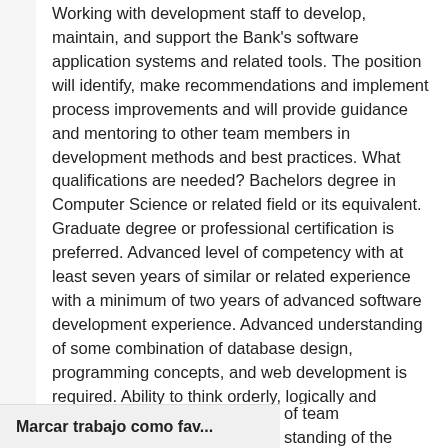Working with development staff to develop, maintain, and support the Bank's software application systems and related tools. The position will identify, make recommendations and implement process improvements and will provide guidance and mentoring to other team members in development methods and best practices. What qualifications are needed? Bachelors degree in Computer Science or related field or its equivalent. Graduate degree or professional certification is preferred. Advanced level of competency with at least seven years of similar or related experience with a minimum of two years of advanced software development experience. Advanced understanding of some combination of database design, programming concepts, and web development is required. Ability to think orderly, logically and analytically and strong problem solving skills. Resourcefulness and creativity when researching new products and techniques. Must be able to work and travel independently and use general office equipment. have a strong sense of team standing of the technologies
Marcar trabajo como fav...